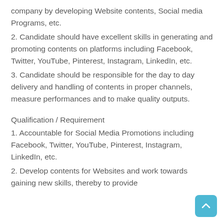company by developing Website contents, Social media Programs, etc.
2. Candidate should have excellent skills in generating and promoting contents on platforms including Facebook, Twitter, YouTube, Pinterest, Instagram, LinkedIn, etc.
3. Candidate should be responsible for the day to day delivery and handling of contents in proper channels, measure performances and to make quality outputs.
Qualification / Requirement
1. Accountable for Social Media Promotions including Facebook, Twitter, YouTube, Pinterest, Instagram, LinkedIn, etc.
2. Develop contents for Websites and work towards gaining new skills, thereby to provide